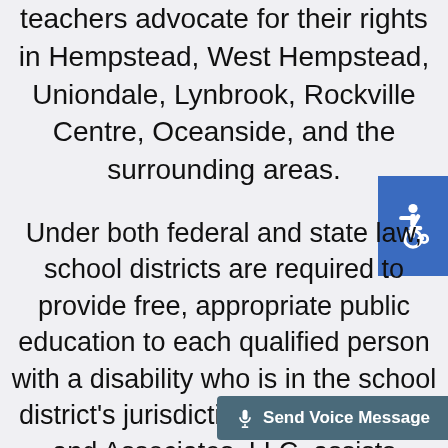teachers advocate for their rights in Hempstead, West Hempstead, Uniondale, Lynbrook, Rockville Centre, Oceanside, and the surrounding areas.
[Figure (illustration): Blue accessibility icon (wheelchair symbol) on blue square background]
Under both federal and state law, school districts are required to provide free, appropriate public education to each qualified person with a disability who is in the school district's jurisdiction. Larry McCord and Associates, LLC. assists parents and guardians of children with
[Figure (other): Send Voice Message button overlay at bottom right]